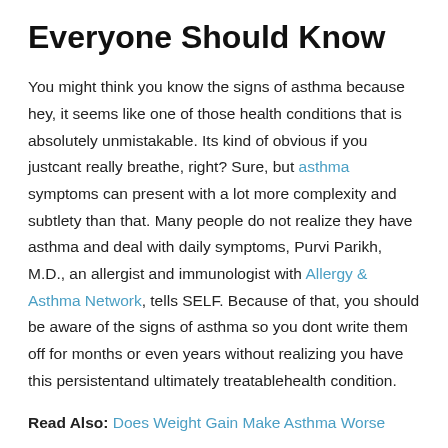Everyone Should Know
You might think you know the signs of asthma because hey, it seems like one of those health conditions that is absolutely unmistakable. Its kind of obvious if you justcant really breathe, right? Sure, but asthma symptoms can present with a lot more complexity and subtlety than that. Many people do not realize they have asthma and deal with daily symptoms, Purvi Parikh, M.D., an allergist and immunologist with Allergy & Asthma Network, tells SELF. Because of that, you should be aware of the signs of asthma so you dont write them off for months or even years without realizing you have this persistentand ultimately treatablehealth condition.
Read Also: Does Weight Gain Make Asthma Worse
Should I Call 911 If Im Having An